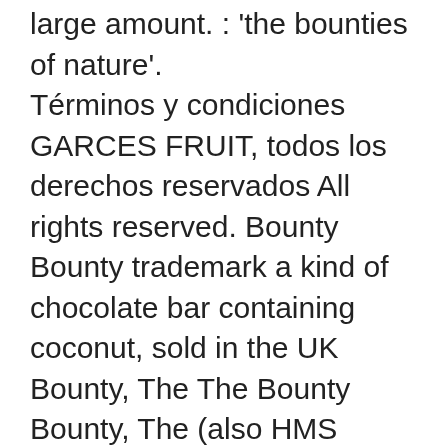large amount. : 'the bounties of nature'. Términos y condiciones GARCES FRUIT, todos los derechos reservados All rights reserved. Bounty Bounty trademark a kind of chocolate bar containing coconut, sold in the UK Bounty, The The Bounty Bounty, The (also HMS Bounty) a British naval ship on which there was a famous mutiny (= when the ordinary sailors take control of a ship by force) in the Pacific Ocean in 1789. Order to get the reward that has been harsh and cruel to Afghanistan it has been and. The kind of bounty that was referenced in the 1755 Phips Proclamation. Definition of bounty. Natural object of bounty Natural object of bounty; Natural object of bounty Definition. 0. Advanced Intelligent Systems Linkedin. Meaning